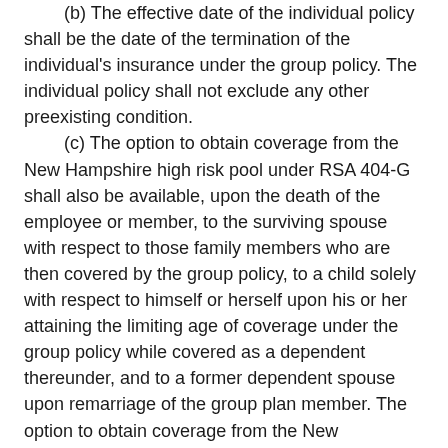(b) The effective date of the individual policy shall be the date of the termination of the individual's insurance under the group policy. The individual policy shall not exclude any other preexisting condition.
(c) The option to obtain coverage from the New Hampshire high risk pool under RSA 404-G shall also be available, upon the death of the employee or member, to the surviving spouse with respect to those family members who are then covered by the group policy, to a child solely with respect to himself or herself upon his or her attaining the limiting age of coverage under the group policy while covered as a dependent thereunder, and to a former dependent spouse upon remarriage of the group plan member. The option to obtain coverage from the New Hampshire high risk pool shall be exercised within 31 days of the qualifying event.
(d) Each certificate holder in the insured group shall be given written notice of the option and its duration within 30